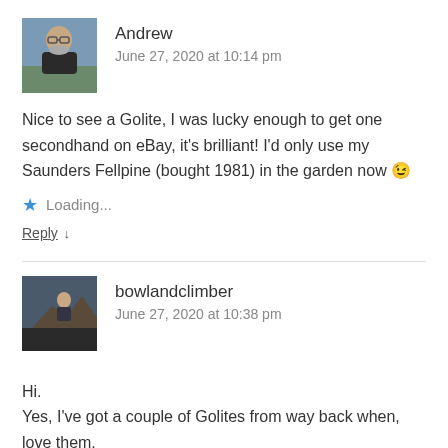[Figure (photo): Avatar photo of Andrew, a man with glasses and grey beard outdoors]
Andrew
June 27, 2020 at 10:14 pm
Nice to see a Golite, I was lucky enough to get one secondhand on eBay, it's brilliant! I'd only use my Saunders Fellpine (bought 1981) in the garden now 😉
Loading...
Reply ↓
[Figure (photo): Avatar photo of bowlandclimber, person on a rocky outcrop]
bowlandclimber
June 27, 2020 at 10:38 pm
Hi.
Yes, I've got a couple of Golites from way back when, love them.